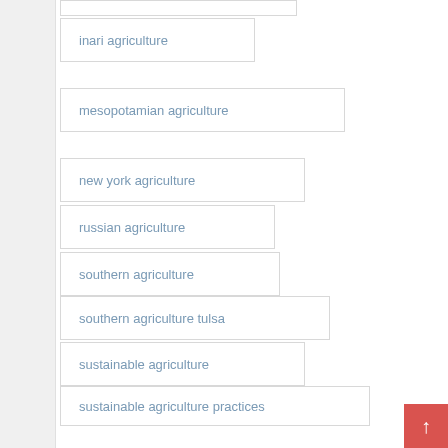inari agriculture
mesopotamian agriculture
new york agriculture
russian agriculture
southern agriculture
southern agriculture tulsa
sustainable agriculture
sustainable agriculture practices
systematic agriculture